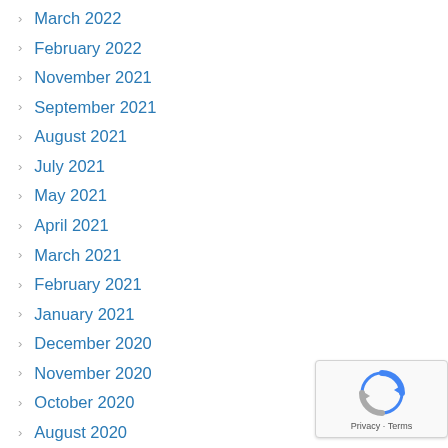March 2022
February 2022
November 2021
September 2021
August 2021
July 2021
May 2021
April 2021
March 2021
February 2021
January 2021
December 2020
November 2020
October 2020
August 2020
May 2020
April 2020
March 2020
[Figure (logo): Google reCAPTCHA badge with privacy and terms links]